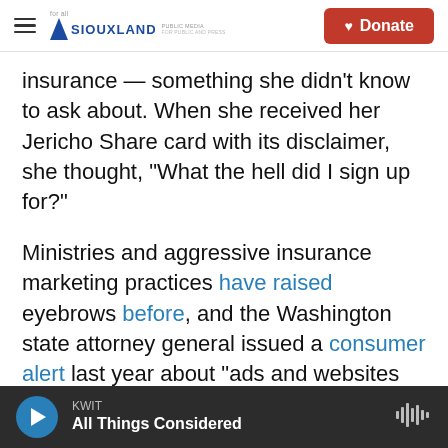Siouxland Public Media — Donate
insurance — something she didn't know to ask about. When she received her Jericho Share card with its disclaimer, she thought, "What the hell did I sign up for?"
Ministries and aggressive insurance marketing practices have raised eyebrows before, and the Washington state attorney general issued a consumer alert last year about "ads and websites posing as the official health insurance marketplace." But Georgetown University's Volk said large-scale crackdowns would likely require cooperation by multiple state regulators because
KWIT — All Things Considered